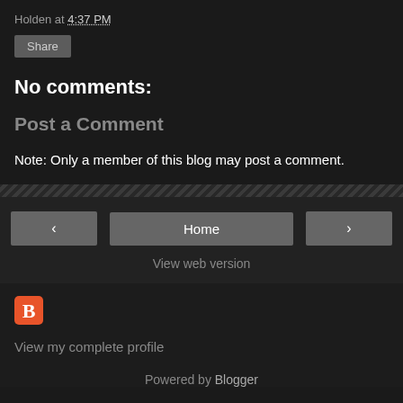Holden at 4:37 PM
Share
No comments:
Post a Comment
Note: Only a member of this blog may post a comment.
< Home >
View web version
[Figure (logo): Blogger orange square logo icon]
View my complete profile
Powered by Blogger